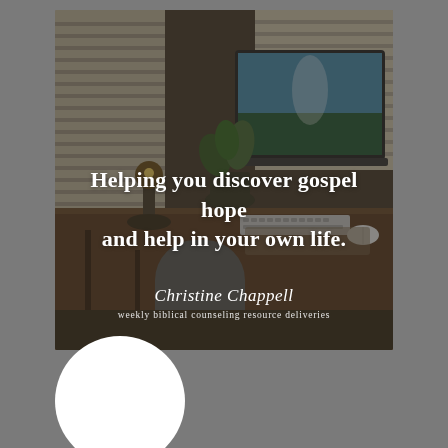[Figure (photo): Desk scene with laptop, plant, lamp, keyboard and mouse on a wooden desk, with venetian blinds in background. Dark overlay applied. Text overlay reads: 'Helping you discover gospel hope and help in your own life.' with 'Christine Chappell' in script and 'weekly biblical counseling resource deliveries' below.]
Helping you discover gospel hope and help in your own life.
Christine Chappell
weekly biblical counseling resource deliveries
[Figure (photo): White circular profile photo placeholder at the bottom left of the page]